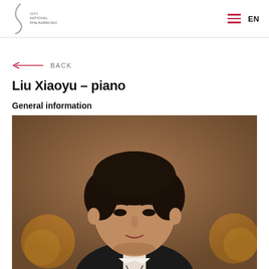CITY NATIONAL PHILHARMONIC | EN
← BACK
Liu Xiaoyu – piano
General information
[Figure (photo): Portrait photo of Liu Xiaoyu, a young man with dark hair wearing a suit, photographed against a warm bokeh background with orange circular lights]